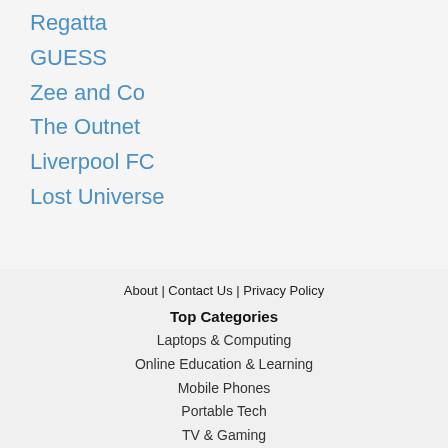Regatta
GUESS
Zee and Co
The Outnet
Liverpool FC
Lost Universe
About | Contact Us | Privacy Policy
Top Categories
Laptops & Computing
Online Education & Learning
Mobile Phones
Portable Tech
TV & Gaming